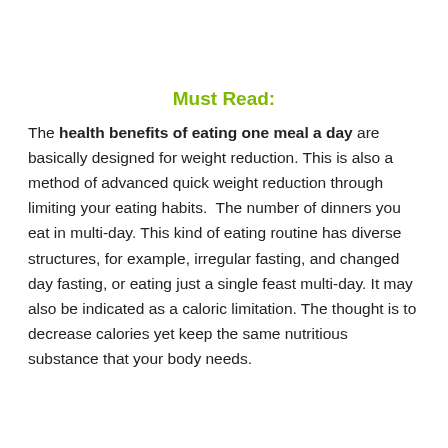Must Read:
The health benefits of eating one meal a day are basically designed for weight reduction. This is also a method of advanced quick weight reduction through limiting your eating habits.  The number of dinners you eat in multi-day. This kind of eating routine has diverse structures, for example, irregular fasting, and changed day fasting, or eating just a single feast multi-day. It may also be indicated as a caloric limitation. The thought is to decrease calories yet keep the same nutritious substance that your body needs.